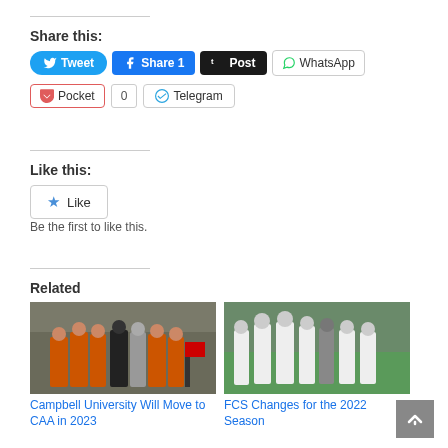Share this:
[Figure (infographic): Social share buttons: Tweet (Twitter/blue rounded), Share 1 (Facebook/blue), Post (Tumblr/dark), WhatsApp (white with border), Pocket with count 0, Telegram]
Like this:
[Figure (infographic): Like button with star icon]
Be the first to like this.
Related
[Figure (photo): Football players in orange uniforms running out of tunnel with coaches]
Campbell University Will Move to CAA in 2023
[Figure (photo): Football players in white uniforms running on field]
FCS Changes for the 2022 Season